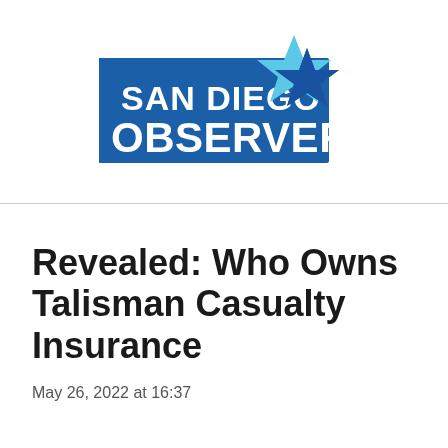[Figure (logo): San Diego Observer logo — blue rectangle with white bold text 'SAN DIEGO OBSERVER' and a blue star graphic (two-tone blue) in the upper right corner]
Revealed: Who Owns Talisman Casualty Insurance
May 26, 2022 at 16:37